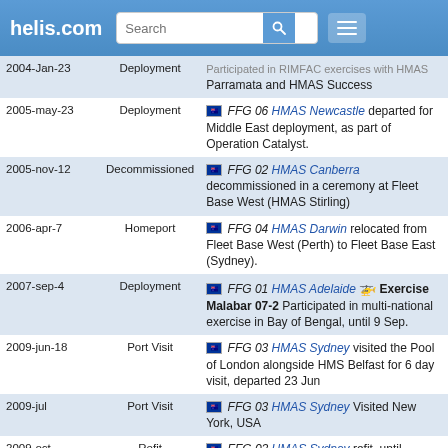helis.com
| Date | Type | Description |
| --- | --- | --- |
| 2004-Jan-23 | Deployment | Participated in RIMPAC exercises with HMAS Parramata and HMAS Success |
| 2005-may-23 | Deployment | FFG 06 HMAS Newcastle departed for Middle East deployment, as part of Operation Catalyst. |
| 2005-nov-12 | Decommissioned | FFG 02 HMAS Canberra decommissioned in a ceremony at Fleet Base West (HMAS Stirling) |
| 2006-apr-7 | Homeport | FFG 04 HMAS Darwin relocated from Fleet Base West (Perth) to Fleet Base East (Sydney). |
| 2007-sep-4 | Deployment | FFG 01 HMAS Adelaide [helicopter] Exercise Malabar 07-2 Participated in multi-national exercise in Bay of Bengal, until 9 Sep. |
| 2009-jun-18 | Port Visit | FFG 03 HMAS Sydney visited the Pool of London alongside HMS Belfast for 6 day visit, departed 23 Jun |
| 2009-jul | Port Visit | FFG 03 HMAS Sydney Visited New York, USA |
| 2009-oct | Refit | FFG 03 HMAS Sydney refit, until returned to sea for trials on 27 Apr 2010 |